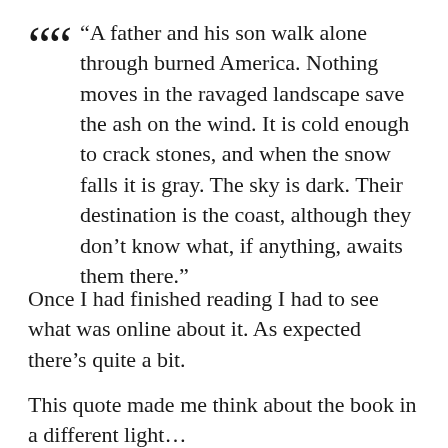“A father and his son walk alone through burned America. Nothing moves in the ravaged landscape save the ash on the wind. It is cold enough to crack stones, and when the snow falls it is gray. The sky is dark. Their destination is the coast, although they don’t know what, if anything, awaits them there.”
Once I had finished reading I had to see what was online about it. As expected there’s quite a bit.
This quote made me think about the book in a different light…